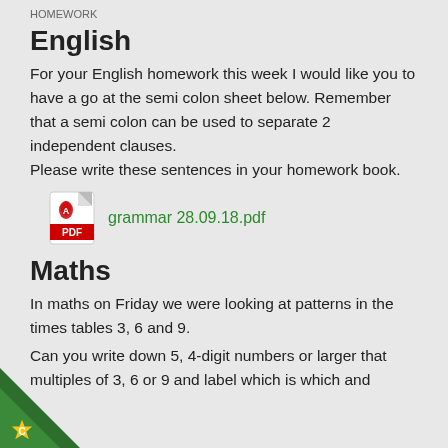HOMEWORK
English
For your English homework this week I would like you to have a go at the semi colon sheet below. Remember that a semi colon can be used to separate 2 independent clauses. Please write these sentences in your homework book.
[Figure (other): PDF icon link for grammar 28.09.18.pdf]
Maths
In maths on Friday we were looking at patterns in the times tables 3, 6 and 9.
Can you write down 5, 4-digit numbers or larger that multiples of 3, 6 or 9 and label which is which and